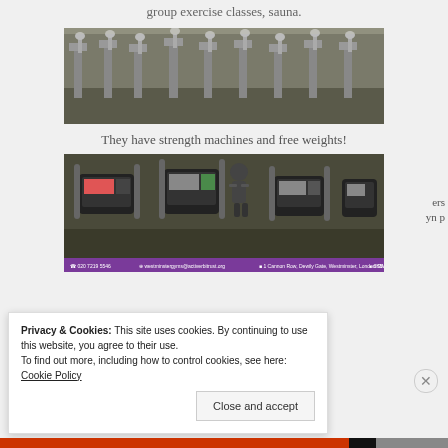group exercise classes, sauna.
[Figure (photo): Rows of exercise machines (ellipticals/cross-trainers) in a gym floor]
They have strength machines and free weights!
[Figure (photo): Close-up of treadmill consoles in a gym with a person running, and a purple contact info bar at bottom showing '020 7219 5546', website, address in Westminster, London SW1A 2JB, and a pin icon]
Privacy & Cookies: This site uses cookies. By continuing to use this website, you agree to their use.
To find out more, including how to control cookies, see here: Cookie Policy